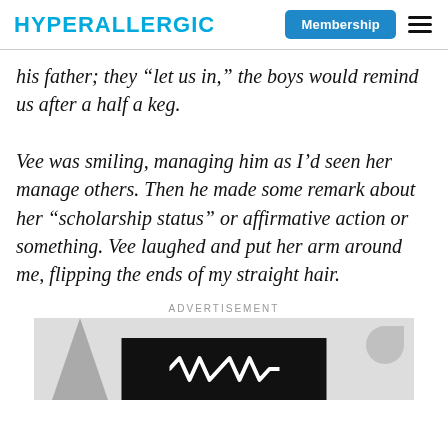HYPERALLERGIC
his father; they “let us in,” the boys would remind us after a half a keg.
Vee was smiling, managing him as I’d seen her manage others. Then he made some remark about her “scholarship status” or affirmative action or something. Vee laughed and put her arm around me, flipping the ends of my straight hair.
ADVERTISEMENT
[Figure (photo): Advertisement image showing a black rectangle with a white wave/audio waveform logo symbol (resembling NMM), on a light grey background with a partial diagonal dark shape on the left.]